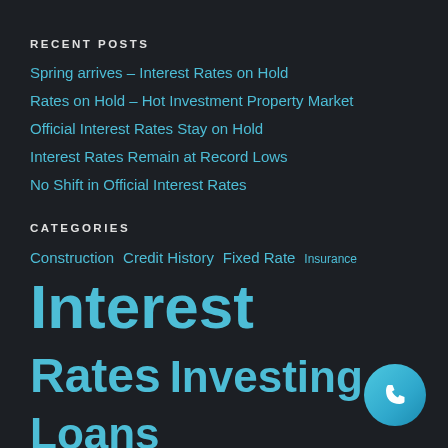RECENT POSTS
Spring arrives – Interest Rates on Hold
Rates on Hold – Hot Investment Property Market
Official Interest Rates Stay on Hold
Interest Rates Remain at Record Lows
No Shift in Official Interest Rates
CATEGORIES
Construction Credit History Fixed Rate Insurance Interest Rates Investing Loans Mortgage Property Refinance SMSF Variable Rate